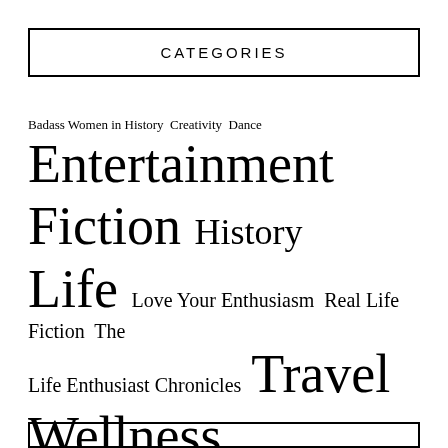CATEGORIES
Badass Women in History  Creativity  Dance  Entertainment  Fiction  History  Life  Love Your Enthusiasm  Real Life Fiction  The Life Enthusiast Chronicles  Travel  Wellness  Writing  Yoga